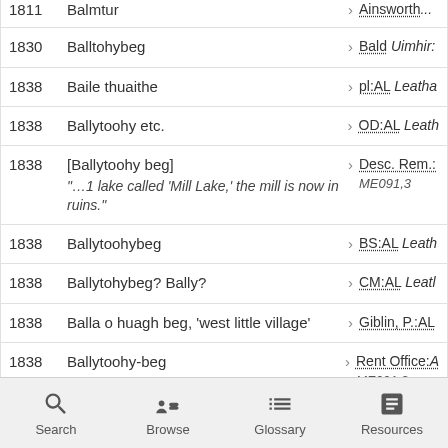1811 | Balmtur | > Ainsworth...
1830 | Balltohybeg | > Bald Uimhir:
1838 | Baile thuaithe | > pl:AL Leatha
1838 | Ballytoohy etc. | > OD:AL Leath
1838 | [Ballytoohy beg] "...1 lake called 'Mill Lake,' the mill is now in ruins." | > Desc. Rem.: ME091,3
1838 | Ballytoohybeg | > BS:AL Leath
1838 | Ballytohybeg? Bally? | > CM:AL Leatl
1838 | Balla o huagh beg, 'west little village' | > Giblin, P.:AL
1838 | Ballytoohy-beg | > Rent Office:A ME091,3
Search | Browse | Glossary | Resources